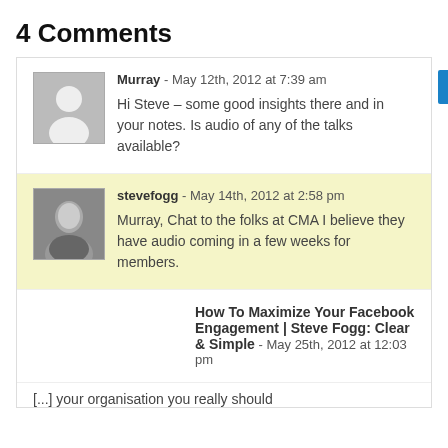4 Comments
Murray - May 12th, 2012 at 7:39 am
Hi Steve – some good insights there and in your notes. Is audio of any of the talks available?
stevefogg - May 14th, 2012 at 2:58 pm
Murray, Chat to the folks at CMA I believe they have audio coming in a few weeks for members.
How To Maximize Your Facebook Engagement | Steve Fogg: Clear & Simple - May 25th, 2012 at 12:03 pm
[...] your organisation you really should